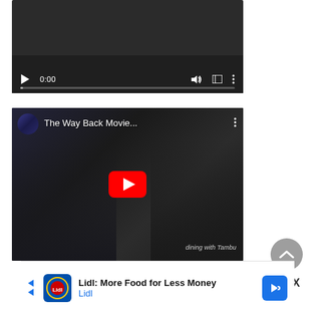[Figure (screenshot): A video player showing a dark/black video with playback controls: play button, time display '0:00', volume icon, fullscreen icon, and more options icon. Progress bar visible at bottom.]
[Figure (screenshot): A YouTube video thumbnail titled 'The Way Back Movie...' showing people sitting in a cinema/theater, with a YouTube play button overlay and a watermark reading 'dining with Tambu'.]
[Figure (screenshot): Advertisement banner for Lidl: 'Lidl: More Food for Less Money' with Lidl logo and a blue navigation arrow icon.]